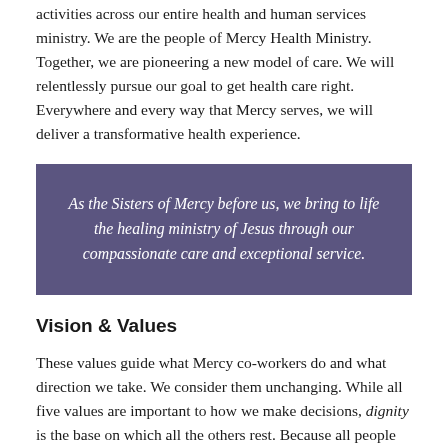activities across our entire health and human services ministry. We are the people of Mercy Health Ministry. Together, we are pioneering a new model of care. We will relentlessly pursue our goal to get health care right. Everywhere and every way that Mercy serves, we will deliver a transformative health experience.
As the Sisters of Mercy before us, we bring to life the healing ministry of Jesus through our compassionate care and exceptional service.
Vision & Values
These values guide what Mercy co-workers do and what direction we take. We consider them unchanging. While all five values are important to how we make decisions, dignity is the base on which all the others rest. Because all people are created in the image and likeness of God, each person deserves to